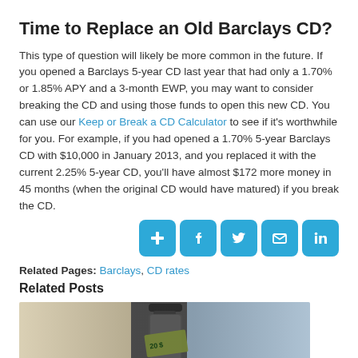Time to Replace an Old Barclays CD?
This type of question will likely be more common in the future. If you opened a Barclays 5-year CD last year that had only a 1.70% or 1.85% APY and a 3-month EWP, you may want to consider breaking the CD and using those funds to open this new CD. You can use our Keep or Break a CD Calculator to see if it's worthwhile for you. For example, if you had opened a 1.70% 5-year Barclays CD with $10,000 in January 2013, and you replaced it with the current 2.25% 5-year CD, you'll have almost $172 more money in 45 months (when the original CD would have matured) if you break the CD.
[Figure (infographic): Social sharing buttons: add (+), Facebook (f), Twitter (bird), Email (envelope), LinkedIn (in) — all with blue rounded square backgrounds]
Related Pages: Barclays, CD rates
Related Posts
[Figure (photo): Photo of rolled-up US dollar bills (20 dollar bill visible) in a glass or bottle, with blurred background]